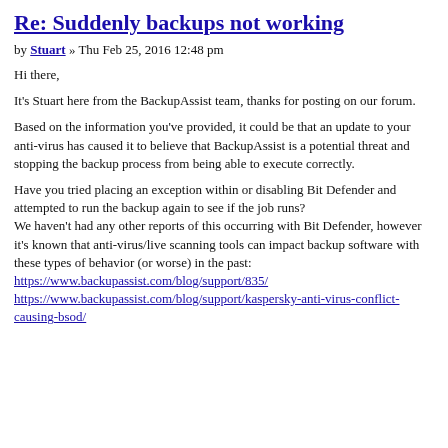Re: Suddenly backups not working
by Stuart » Thu Feb 25, 2016 12:48 pm
Hi there,
It's Stuart here from the BackupAssist team, thanks for posting on our forum.
Based on the information you've provided, it could be that an update to your anti-virus has caused it to believe that BackupAssist is a potential threat and stopping the backup process from being able to execute correctly.
Have you tried placing an exception within or disabling Bit Defender and attempted to run the backup again to see if the job runs?
We haven't had any other reports of this occurring with Bit Defender, however it's known that anti-virus/live scanning tools can impact backup software with these types of behavior (or worse) in the past:
https://www.backupassist.com/blog/support/835/
https://www.backupassist.com/blog/support/kaspersky-anti-virus-conflict-causing-bsod/